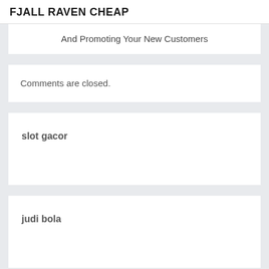FJALL RAVEN CHEAP
And Promoting Your New Customers
Comments are closed.
slot gacor
judi bola